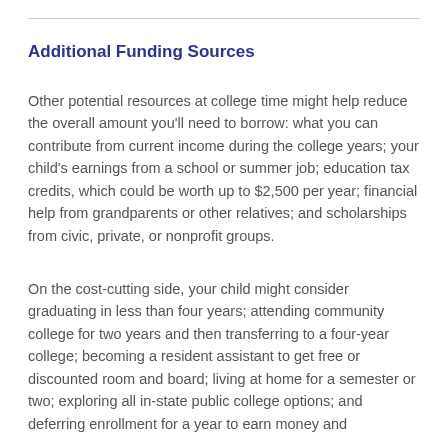Additional Funding Sources
Other potential resources at college time might help reduce the overall amount you’ll need to borrow: what you can contribute from current income during the college years; your child’s earnings from a school or summer job; education tax credits, which could be worth up to $2,500 per year; financial help from grandparents or other relatives; and scholarships from civic, private, or nonprofit groups.
On the cost-cutting side, your child might consider graduating in less than four years; attending community college for two years and then transferring to a four-year college; becoming a resident assistant to get free or discounted room and board; living at home for a semester or two; exploring all in-state public college options; and deferring enrollment for a year to earn money and